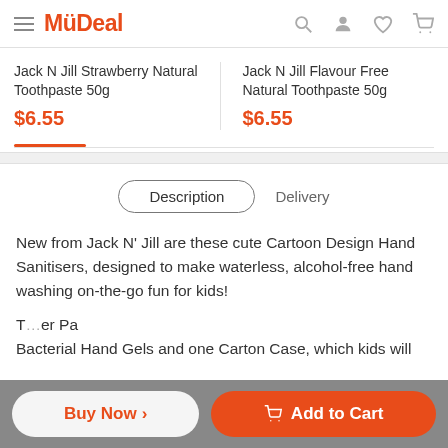MüDeal
Jack N Jill Strawberry Natural Toothpaste 50g
$6.55
Jack N Jill Flavour Free Natural Toothpaste 50g
$6.55
Description   Delivery
New from Jack N' Jill are these cute Cartoon Design Hand Sanitisers, designed to make waterless, alcohol-free hand washing on-the-go fun for kids!
Buy Now ›   Add to Cart